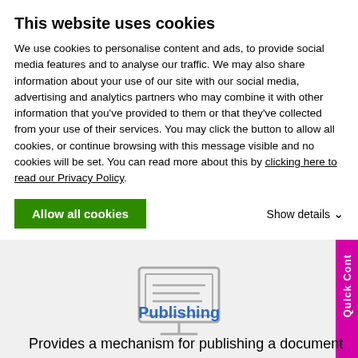This website uses cookies
We use cookies to personalise content and ads, to provide social media features and to analyse our traffic. We may also share information about your use of our site with our social media, advertising and analytics partners who may combine it with other information that you've provided to them or that they've collected from your use of their services. You may click the button to allow all cookies, or continue browsing with this message visible and no cookies will be set. You can read more about this by clicking here to read our Privacy Policy.
never shared, it is often a controlled version in a PDF format.
[Figure (illustration): Monitor/computer screen icon showing a document with horizontal lines on screen, with a stand base]
Publishing
Provides a mechanism for publishing a document